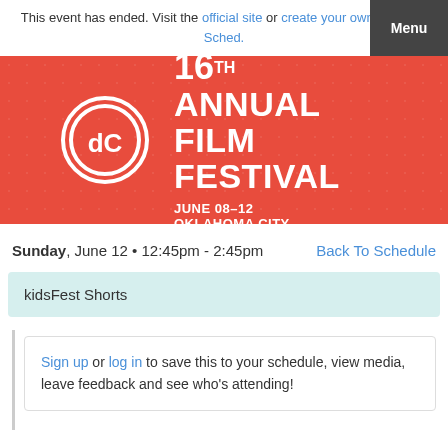This event has ended. Visit the official site or create your own event on Sched.
[Figure (illustration): 16th Annual Film Festival banner with dC logo on red background. JUNE 08-12 OKLAHOMA CITY]
Sunday, June 12 • 12:45pm - 2:45pm   Back To Schedule
kidsFest Shorts
Sign up or log in to save this to your schedule, view media, leave feedback and see who's attending!